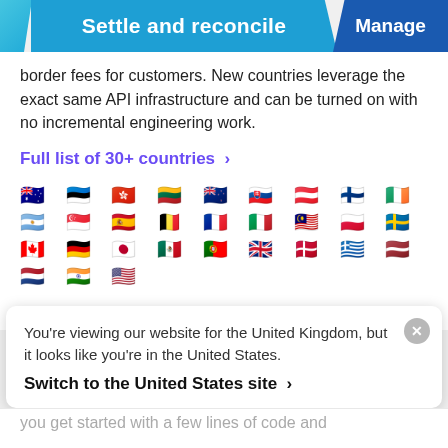Settle and reconcile | Manage
border fees for customers. New countries leverage the exact same API infrastructure and can be turned on with no incremental engineering work.
Full list of 30+ countries >
[Figure (infographic): Grid of 30 country flag emoji icons representing the countries supported]
You're viewing our website for the United Kingdom, but it looks like you're in the United States.
Switch to the United States site >
you get started with a few lines of code and